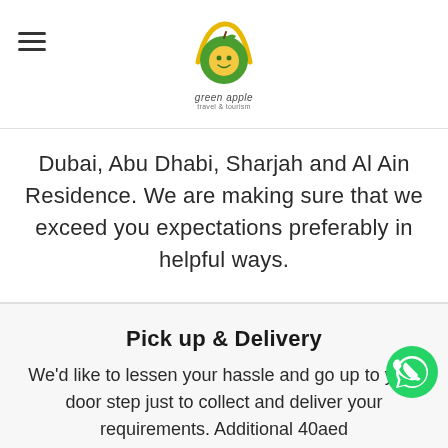green apple travel & tourism
Dubai, Abu Dhabi, Sharjah and Al Ain Residence. We are making sure that we exceed you expectations preferably in helpful ways.
Pick up & Delivery
We'd like to lessen your hassle and go up to your door step just to collect and deliver your requirements. Additional 40aed